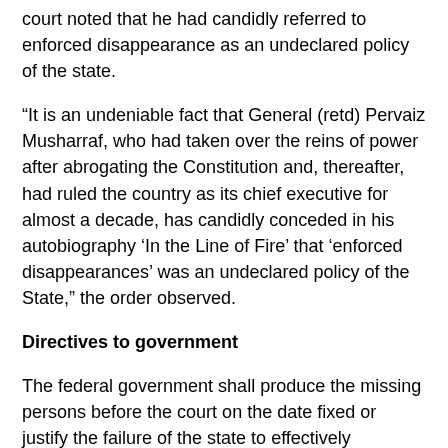court noted that he had candidly referred to enforced disappearance as an undeclared policy of the state.
“It is an undeniable fact that General (retd) Pervaiz Musharraf, who had taken over the reins of power after abrogating the Constitution and, thereafter, had ruled the country as its chief executive for almost a decade, has candidly conceded in his autobiography ‘In the Line of Fire’ that ‘enforced disappearances’ was an undeclared policy of the State,” the order observed.
Directives to government
The federal government shall produce the missing persons before the court on the date fixed or justify the failure of the state to effectively investigate and trace their whereabouts, the court told the attorney-general in the order.